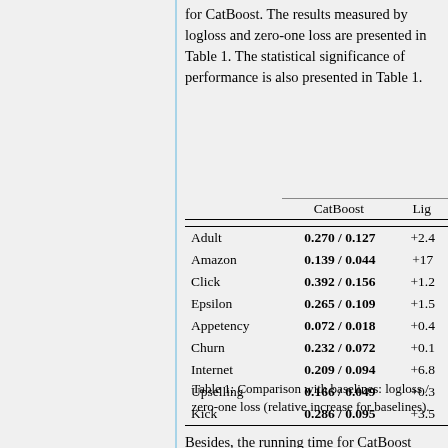for CatBoost. The results measured by logloss and zero-one loss are presented in Table 1. The statistical significance of performance is also presented in Table 1.
|  | CatBoost | Lig... |
| --- | --- | --- |
| Adult | 0.270 / 0.127 | +2.4... |
| Amazon | 0.139 / 0.044 | +17... |
| Click | 0.392 / 0.156 | +1.2... |
| Epsilon | 0.265 / 0.109 | +1.5... |
| Appetency | 0.072 / 0.018 | +0.4... |
| Churn | 0.232 / 0.072 | +0.1... |
| Internet | 0.209 / 0.094 | +6.8... |
| Upselling | 0.166 / 0.049 | +0.3... |
| Kick | 0.286 / 0.095 | +3.5... |
Table 1: Comparison with baselines: logloss / zero-one loss (relative increase for baselines).
Besides, the running time for CatBoost...